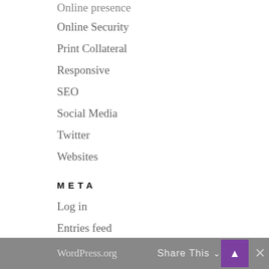Online presence
Online Security
Print Collateral
Responsive
SEO
Social Media
Twitter
Websites
META
Log in
Entries feed
Comments feed
WordPress.org  Share This  ▲  ✕